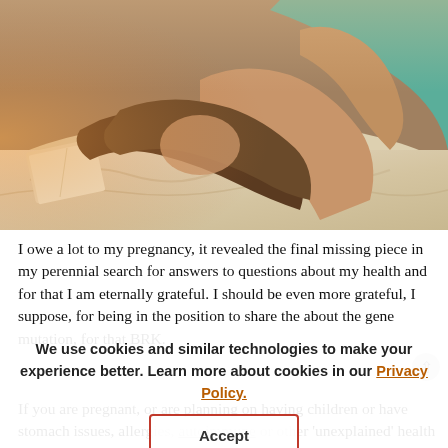[Figure (photo): A woman with brown hair lying on a bed with white sheets, resting her head on her arms, with warm orange/golden lighting from the left and a teal top visible. A book or tablet is partially visible to her left.]
I owe a lot to my pregnancy, it revealed the final missing piece in my perennial search for answers to questions about my health and for that I am eternally grateful. I should be even more grateful, I suppose, for being in the position to share the about the gene mutation, for that BRK.
If you are pregnant, or are planning on having children or have stomach issues, allergies, autoimmune or other 'unexplained' health problems that continually persist, despite
We use cookies and similar technologies to make your experience better. Learn more about cookies in our Privacy Policy.
Accept